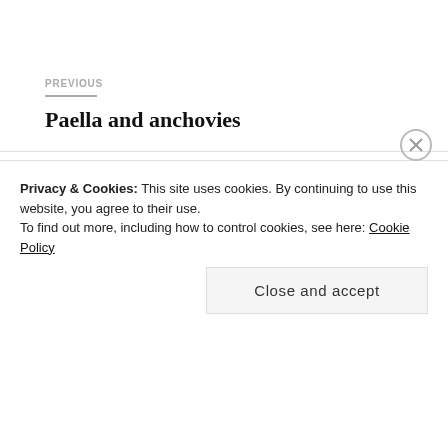PREVIOUS
Paella and anchovies
NEXT
Barcelonete, near the Mediterranean Sea
Privacy & Cookies: This site uses cookies. By continuing to use this website, you agree to their use.
To find out more, including how to control cookies, see here: Cookie Policy
Close and accept